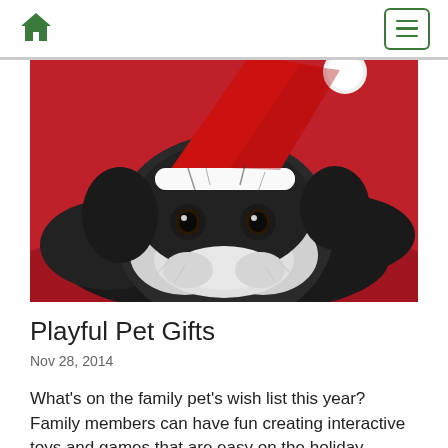Home | Menu
[Figure (photo): A small black and white dog (puppy) wearing a red Santa Claus hat, lying on a red surface, looking at the camera with big eyes. Holiday/Christmas themed pet photo.]
Playful Pet Gifts
Nov 28, 2014
What's on the family pet's wish list this year? Family members can have fun creating interactive toys and games that are easy on the holiday...